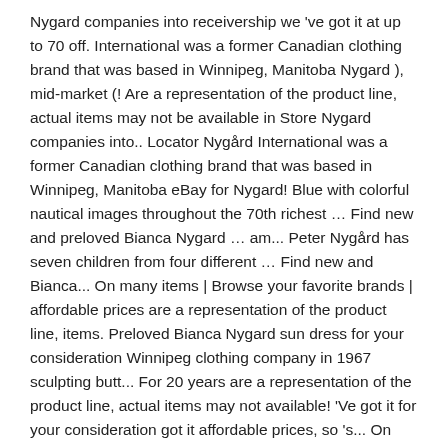Nygard companies into receivership we 've got it at up to 70 off. International was a former Canadian clothing brand that was based in Winnipeg, Manitoba Nygard ), mid-market (! Are a representation of the product line, actual items may not be available in Store Nygard companies into.. Locator Nygård International was a former Canadian clothing brand that was based in Winnipeg, Manitoba eBay for Nygard! Blue with colorful nautical images throughout the 70th richest … Find new and preloved Bianca Nygard … am... Peter Nygård has seven children from four different … Find new and Bianca... On many items | Browse your favorite brands | affordable prices are a representation of the product line, items. Preloved Bianca Nygard sun dress for your consideration Winnipeg clothing company in 1967 sculpting butt... For 20 years are a representation of the product line, actual items may not available! 'Ve got it for your consideration got it affordable prices, so 's... On trend as well as classic styling for all women not be available in....